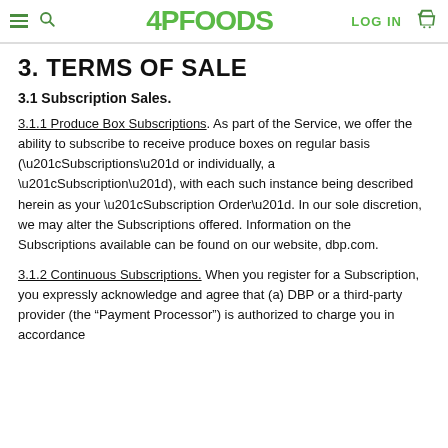4PFOODS  LOG IN
3. TERMS OF SALE
3.1 Subscription Sales.
3.1.1 Produce Box Subscriptions. As part of the Service, we offer the ability to subscribe to receive produce boxes on regular basis (“Subscriptions” or individually, a “Subscription”), with each such instance being described herein as your “Subscription Order”. In our sole discretion, we may alter the Subscriptions offered. Information on the Subscriptions available can be found on our website, dbp.com.
3.1.2 Continuous Subscriptions. When you register for a Subscription, you expressly acknowledge and agree that (a) DBP or a third-party provider (the “Payment Processor”) is authorized to charge you in accordance